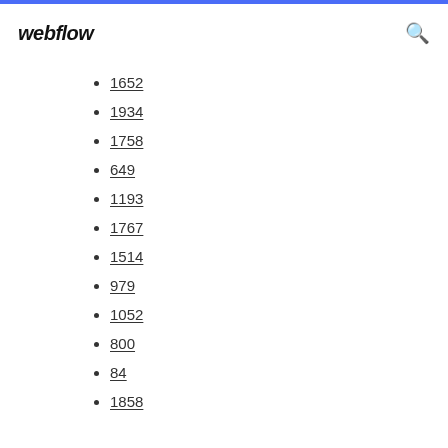webflow
1652
1934
1758
649
1193
1767
1514
979
1052
800
84
1858